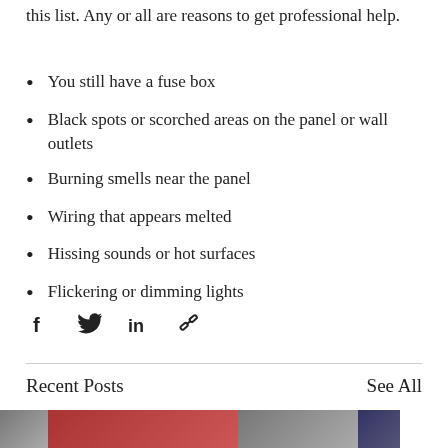this list. Any or all are reasons to get professional help.
You still have a fuse box
Black spots or scorched areas on the panel or wall outlets
Burning smells near the panel
Wiring that appears melted
Hissing sounds or hot surfaces
Flickering or dimming lights
[Figure (other): Social share icons: Facebook, Twitter, LinkedIn, and link/chain icon]
Recent Posts
See All
[Figure (photo): Row of thumbnail images for recent blog posts]